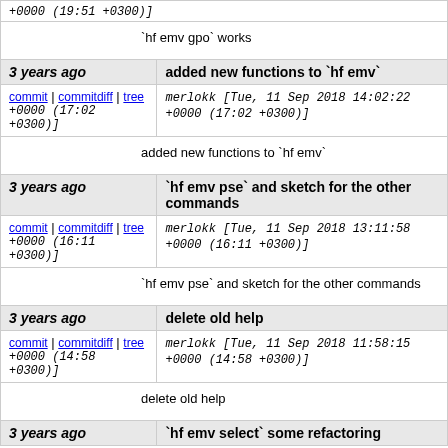+0000 (19:51 +0300)]
`hf emv gpo` works
| 3 years ago | added new functions to `hf emv` |
| commit | commitdiff | tree
+0000 (17:02 +0300)] | merlokk [Tue, 11 Sep 2018 14:02:22 +0000 (17:02 +0300)] |
|  | added new functions to `hf emv` |
| 3 years ago | `hf emv pse` and sketch for the other commands |
| commit | commitdiff | tree
+0000 (16:11 +0300)] | merlokk [Tue, 11 Sep 2018 13:11:58 +0000 (16:11 +0300)] |
|  | `hf emv pse` and sketch for the other commands |
| 3 years ago | delete old help |
| commit | commitdiff | tree
+0000 (14:58 +0300)] | merlokk [Tue, 11 Sep 2018 11:58:15 +0000 (14:58 +0300)] |
|  | delete old help |
| 3 years ago | `hf emv select` some refactoring |